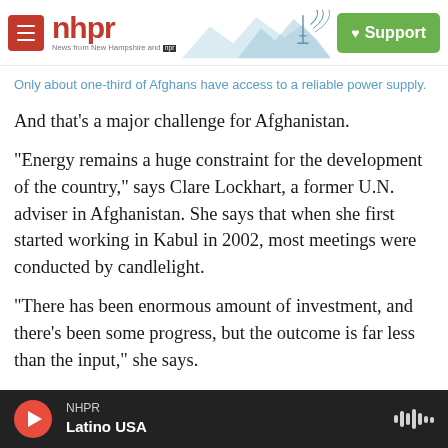nhpr — News from New Hampshire and NPR | Support
Only about one-third of Afghans have access to a reliable power supply.
And that's a major challenge for Afghanistan.
"Energy remains a huge constraint for the development of the country," says Clare Lockhart, a former U.N. adviser in Afghanistan. She says that when she first started working in Kabul in 2002, most meetings were conducted by candlelight.
"There has been enormous amount of investment, and there's been some progress, but the outcome is far less than the input," she says.
NHPR — Latino USA